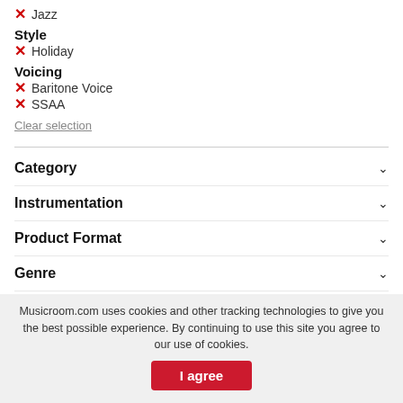✕ Jazz
Style
✕ Holiday
Voicing
✕ Baritone Voice
✕ SSAA
Clear selection
Category
Instrumentation
Product Format
Genre
Publisher
Theme
Musicroom.com uses cookies and other tracking technologies to give you the best possible experience. By continuing to use this site you agree to our use of cookies.
I agree